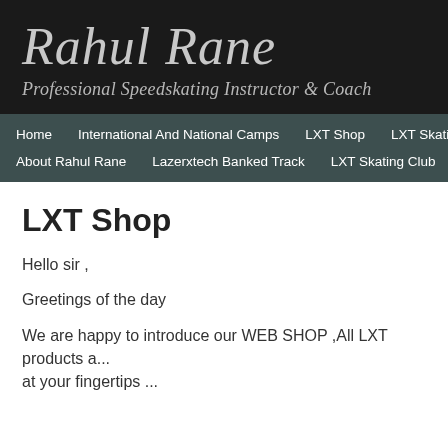Rahul Rane
Professional Speedskating Instructor & Coach
Home   International And National Camps   LXT Shop   LXT Skating   About Rahul Rane   Lazerxtech Banked Track   LXT Skating Club
LXT Shop
Hello sir ,
Greetings of the day
We are happy to introduce our WEB SHOP ,All LXT products a... at your fingertips ...